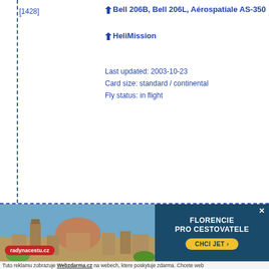[1428]
Bell 206B, Bell 206L, Aérospatiale AS-350
HeliMission
Last updated: 2003-10-23
Card size: standard / continental
Fly status: in flight
[7242]
Bell 206B, MBB BK117
Rüdisühli Heli Group
(Sticker Card)
Last updated: 2008-04-03
[Figure (infographic): Advertisement banner for radynacestu.cz featuring Florence cityscape with cathedral dome, red oval logo badge, and right panel with teal/dark blue hexagon shapes showing 'FLORENCIE PRO CESTOVATELE' and yellow 'CHCI JET' button with close X]
Tuto reklamu zobrazuje Webzdarma.cz na webech, ktere poskytuje zdarma. Chcete web